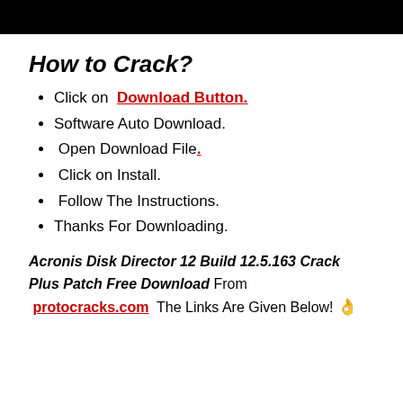[Figure (other): Black banner/header bar at top of page]
How to Crack?
Click on Download Button.
Software Auto Download.
Open Download File.
Click on Install.
Follow The Instructions.
Thanks For Downloading.
Acronis Disk Director 12 Build 12.5.163 Crack Plus Patch Free Download From protocracks.com The Links Are Given Below! 👌